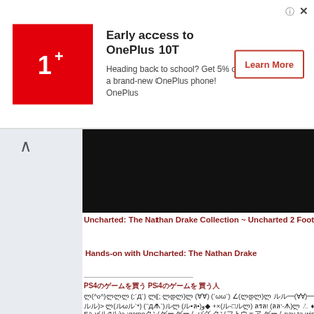[Figure (screenshot): OnePlus advertisement banner with red logo box, ad text 'Early access to OnePlus 10T', subtitle 'Heading back to school? Get 5% off a brand-new OnePlus phone! OnePlus', and a 'Learn More' button on the right.]
[Figure (screenshot): Black video thumbnail area for Uncharted: The Nathan Drake Collection gameplay video.]
Uncharted: The Nathan Drake Collection ~ Uncharted 2 Footage
Hands-on with Uncharted: The Nathan Drake
PS4のゲームを買う PS4のゲームを 買う人
ლ(^o^ლ)なんで (;´Д`) ლ(; 0Дლ)ლ (∀∀) (´ωω`) ∠(0Дლ)ლ ლლ━(∀∀)━ !!!!(´•ω•`)0ლ)> ლ(0ωω`*) (´Дᗑ`)0ლ (0•ล•)و◆ +×(ლ-□ლ) 0ลล! (ლლ'-ㅊ)ლ ㄥ ♦_♦ᗑ(Од
EA-y(0Дლ)o :gameクソゲー,ゲームバグ,ゲームクソフト,ゲームpay-to-win.ゲームloot boxゲ